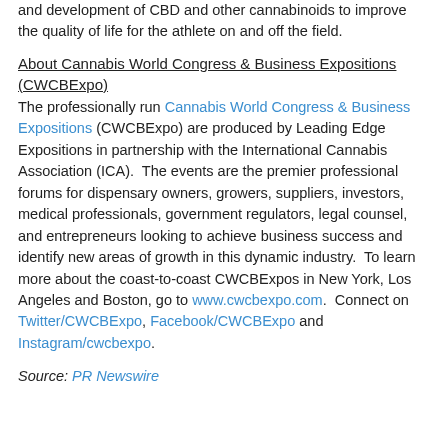and development of CBD and other cannabinoids to improve the quality of life for the athlete on and off the field.
About Cannabis World Congress & Business Expositions (CWCBExpo)
The professionally run Cannabis World Congress & Business Expositions (CWCBExpo) are produced by Leading Edge Expositions in partnership with the International Cannabis Association (ICA). The events are the premier professional forums for dispensary owners, growers, suppliers, investors, medical professionals, government regulators, legal counsel, and entrepreneurs looking to achieve business success and identify new areas of growth in this dynamic industry. To learn more about the coast-to-coast CWCBExpos in New York, Los Angeles and Boston, go to www.cwcbexpo.com. Connect on Twitter/CWCBExpo, Facebook/CWCBExpo and Instagram/cwcbexpo.
Source: PR Newswire